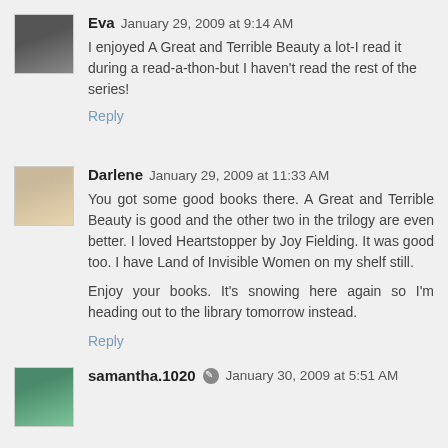Eva  January 29, 2009 at 9:14 AM
I enjoyed A Great and Terrible Beauty a lot-I read it during a read-a-thon-but I haven't read the rest of the series!
Reply
Darlene  January 29, 2009 at 11:33 AM
You got some good books there. A Great and Terrible Beauty is good and the other two in the trilogy are even better. I loved Heartstopper by Joy Fielding. It was good too. I have Land of Invisible Women on my shelf still.
Enjoy your books. It's snowing here again so I'm heading out to the library tomorrow instead.
Reply
samantha.1020  January 30, 2009 at 5:51 AM